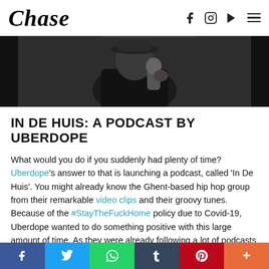Chase — navigation bar with logo, social icons, and hamburger menu
[Figure (photo): Dark hero image showing a person in a black outfit holding a microphone, against a dark background]
IN DE HUIS: A PODCAST BY UBERDOPE
What would you do if you suddenly had plenty of time? Uberdope's answer to that is launching a podcast, called 'In De Huis'. You might already know the Ghent-based hip hop group from their remarkable video clips and their groovy tunes. Because of the #StayTheFuckHome policy due to Covid-19, Uberdope wanted to do something positive with this large amount of time. As they were already following a lot of podcasts themselves, they took the opportunity and started 'In De Huis'. This name not
Social share bar: Facebook, Twitter, WhatsApp, Tumblr, Pinterest, More